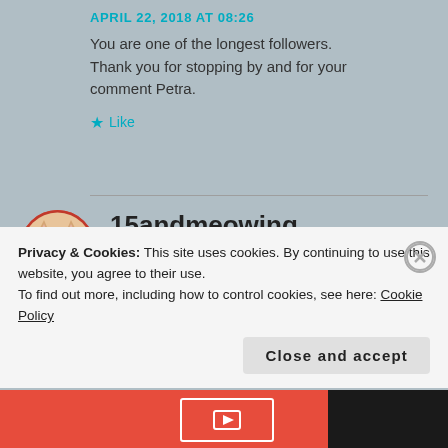APRIL 22, 2018 AT 08:26
You are one of the longest followers. Thank you for stopping by and for your comment Petra.
★ Like
15andmeowing
APRIL 21, 2018 AT 20:25
Great photos. I am glad your kitties get along.
★ Liked by 1 person
Privacy & Cookies: This site uses cookies. By continuing to use this website, you agree to their use. To find out more, including how to control cookies, see here: Cookie Policy
Close and accept